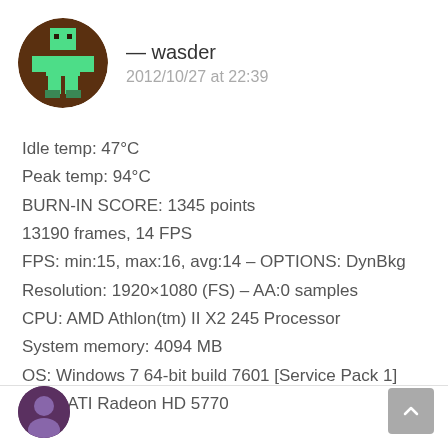[Figure (illustration): Circular avatar with pixel-art Minecraft-style character (green figure on brown background)]
— wasder
2012/10/27 at 22:39
Idle temp: 47°C
Peak temp: 94°C
BURN-IN SCORE: 1345 points
13190 frames, 14 FPS
FPS: min:15, max:16, avg:14 – OPTIONS: DynBkg
Resolution: 1920×1080 (FS) – AA:0 samples
CPU: AMD Athlon(tm) II X2 245 Processor
System memory: 4094 MB
OS: Windows 7 64-bit build 7601 [Service Pack 1]
GPU: ATI Radeon HD 5770